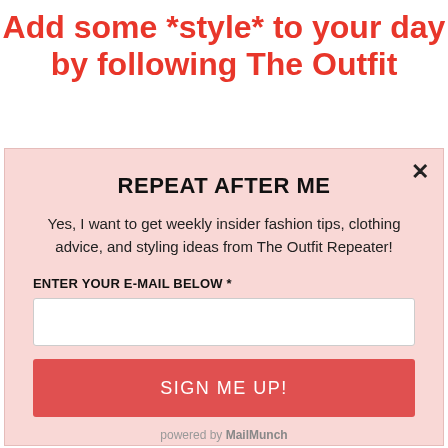Add some *style* to your day by following The Outfit
REPEAT AFTER ME
Yes, I want to get weekly insider fashion tips, clothing advice, and styling ideas from The Outfit Repeater!
ENTER YOUR E-MAIL BELOW *
SIGN ME UP!
powered by MailMunch